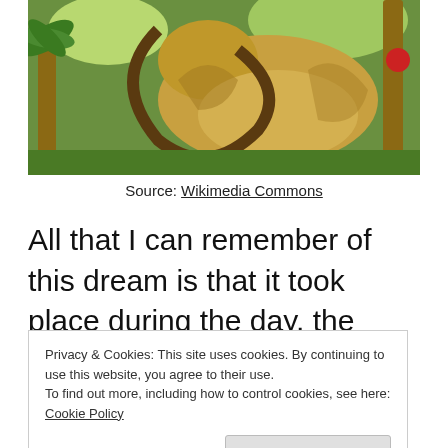[Figure (illustration): Illustration of an animal (possibly a camel or large creature) with tropical foliage in background, appears to be a vintage engraving or colored print from Wikimedia Commons]
Source: Wikimedia Commons
All that I can remember of this dream is that it took place during the day, the forgotten parts of the dream took place at The BP Library where I was working, and at some point I left with my f
Privacy & Cookies: This site uses cookies. By continuing to use this website, you agree to their use.
To find out more, including how to control cookies, see here: Cookie Policy
Close and accept